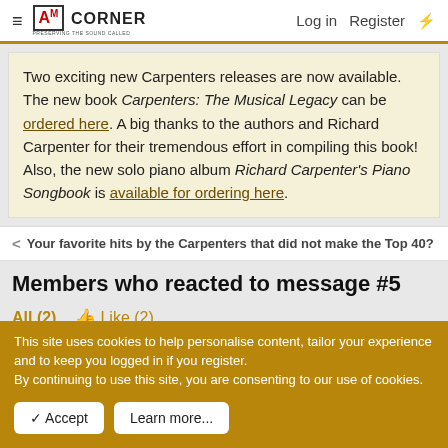AM CORNER — Log in  Register
Two exciting new Carpenters releases are now available. The new book Carpenters: The Musical Legacy can be ordered here. A big thanks to the authors and Richard Carpenter for their tremendous effort in compiling this book! Also, the new solo piano album Richard Carpenter's Piano Songbook is available for ordering here.
< Your favorite hits by the Carpenters that did not make the Top 40?
Members who reacted to message #5
All (2)   👍 Like (2)
This site uses cookies to help personalise content, tailor your experience and to keep you logged in if you register.
By continuing to use this site, you are consenting to our use of cookies.
✓ Accept   Learn more...